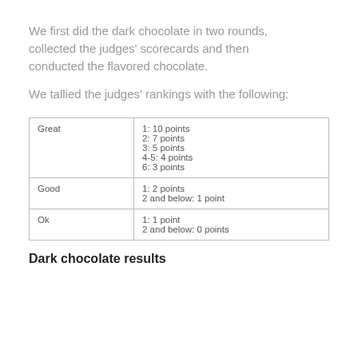We first did the dark chocolate in two rounds, collected the judges' scorecards and then conducted the flavored chocolate.
We tallied the judges' rankings with the following:
| Great | 1: 10 points
2: 7 points
3: 5 points
4-5: 4 points
6: 3 points |
| Good | 1: 2 points
2 and below: 1 point |
| Ok | 1: 1 point
2 and below: 0 points |
Dark chocolate results